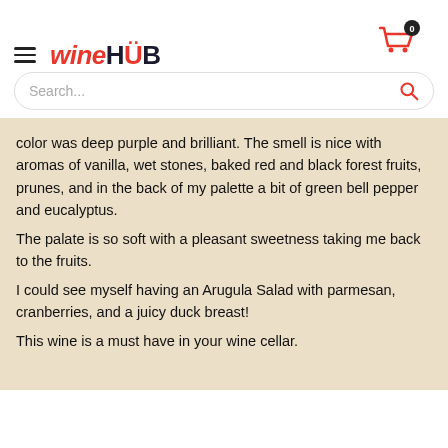[Figure (logo): WineHub logo with hamburger menu icon and shopping cart with badge showing 0]
[Figure (screenshot): Search bar with placeholder text 'Search...' and red search icon]
color was deep purple and brilliant. The smell is nice with aromas of vanilla, wet stones, baked red and black forest fruits, prunes, and in the back of my palette a bit of green bell pepper and eucalyptus.
The palate is so soft with a pleasant sweetness taking me back to the fruits.
I could see myself having an Arugula Salad with parmesan, cranberries, and a juicy duck breast!
This wine is a must have in your wine cellar.